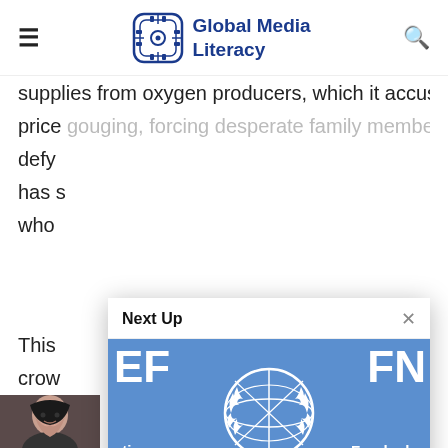Global Media Literacy
supplies from oxygen producers, which it accuses of price gouging, forcing desperate family members to defy has s who
This crow witne
[Figure (screenshot): Next Up modal dialog showing UNICEF/UN logo banner image with text 'UNDEF-funded project to strengthen media literacy and fact-checking skills' and metadata 'admin • July 16, 2021']
[Figure (photo): Partial photo of a person at bottom left of page]